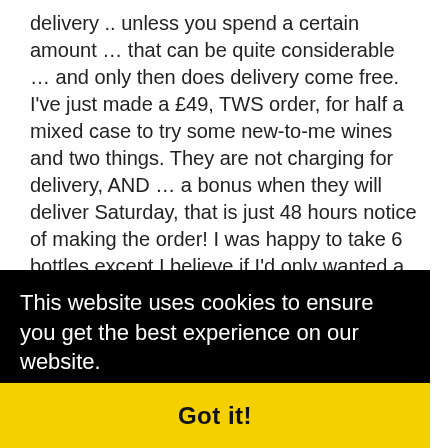delivery .. unless you spend a certain amount … that can be quite considerable … and only then does delivery come free. I've just made a £49, TWS order, for half a mixed case to try some new-to-me wines and two things. They are not charging for delivery, AND … a bonus when they will deliver Saturday, that is just 48 hours notice of making the order! I was happy to take 6 bottles except I believe if I'd only wanted a couple of something then free delivery was still available; there
This website uses cookies to ensure you get the best experience on our website.
Learn more
Got it!